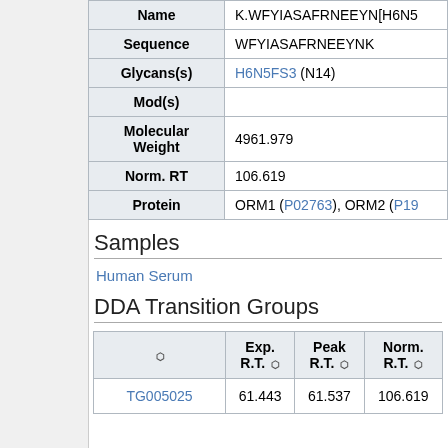| Field | Value |
| --- | --- |
| Name | K.WFYIASAFRNEEYN[H6N5... |
| Sequence | WFYIASAFRNEEYNK |
| Glycans(s) | H6N5FS3 (N14) |
| Mod(s) |  |
| Molecular Weight | 4961.979 |
| Norm. RT | 106.619 |
| Protein | ORM1 (P02763), ORM2 (P19... |
Samples
Human Serum
DDA Transition Groups
|  | Exp. R.T. | Peak R.T. | Norm. R.T. |
| --- | --- | --- | --- |
| TG005025 | 61.443 | 61.537 | 106.619 |